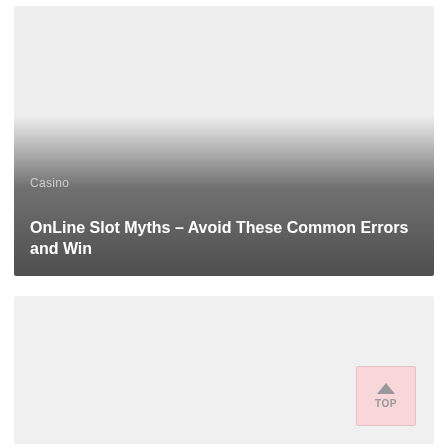[Figure (photo): A card-style blog post thumbnail with a light gray background fading to dark gray at the bottom, with category label 'Casino' and article title 'OnLine Slot Myths – Avoid These Common Errors and Win' overlaid in white text on the dark gradient area.]
[Figure (photo): A second card-style blog post thumbnail with a light gray background, mostly empty, with a pink 'TOP' back-to-top button in the bottom right corner containing an upward arrow chevron.]